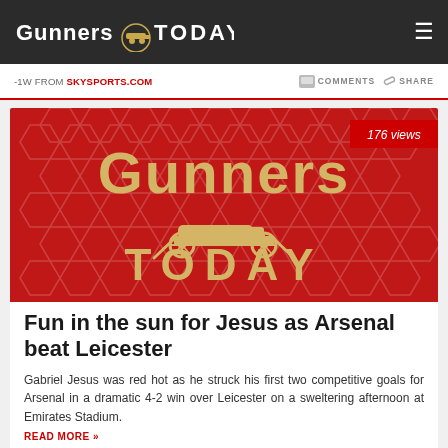Gunners TODAY
-1W FROM SKYSPORTS.COM   COMMENTS   SHARE
[Figure (logo): Gunners Today logo banner on red background with hexagon pattern and Arsenal cannon emblem]
Fun in the sun for Jesus as Arsenal beat Leicester
Gabriel Jesus was red hot as he struck his first two competitive goals for Arsenal in a dramatic 4-2 win over Leicester on a sweltering afternoon at Emirates Stadium.
READ MORE »